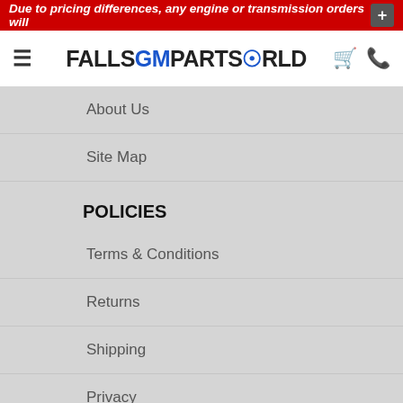Due to pricing differences, any engine or transmission orders will
[Figure (logo): Falls GM Parts World logo with hamburger menu, cart and phone icons]
About Us
Site Map
POLICIES
Terms & Conditions
Returns
Shipping
Privacy
CONTACT
📍 Niagara Falls, ON